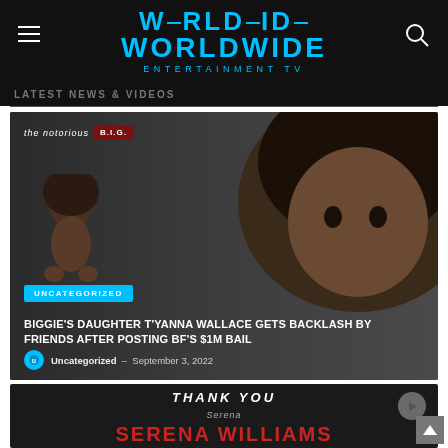WORLDWIDE ENTERTAINMENT TV
LATEST NEWS & VIDEOS
[Figure (photo): Article thumbnail showing child with large afro hair and Notorious B.I.G. branding, with Uncategorized badge and title overlay]
BIGGIE'S DAUGHTER T'YANNA WALLACE GETS BACKLASH BY FRIENDS AFTER POSTING BF'S $1M BAIL
Uncategorized — September 3, 2022
[Figure (photo): Dark background card with THANK YOU text and SERENA WILLIAMS in red letters partially visible]